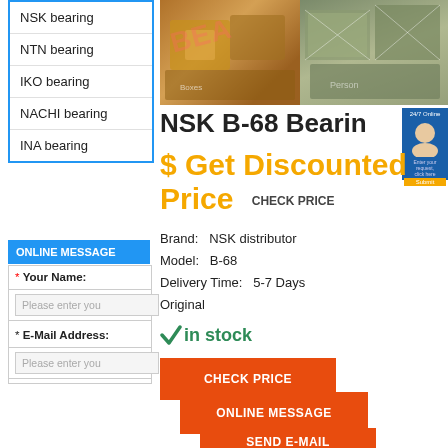NSK bearing
NTN bearing
IKO bearing
NACHI bearing
INA bearing
ONLINE MESSAGE
* Your Name:
Please enter you
* E-Mail Address:
Please enter you
[Figure (photo): Two photos of packaged bearing boxes in warehouse]
NSK B-68 Bearing
$ Get Discounted Price  CHECK PRICE
Brand:  NSK distributor
Model:  B-68
Delivery Time:  5-7 Days
Original
✓in stock
CHECK PRICE
ONLINE MESSAGE
SEND E-MAIL